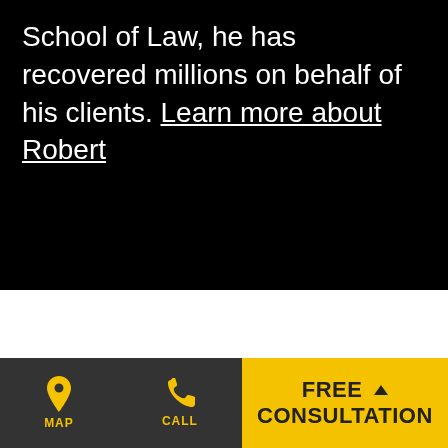School of Law, he has recovered millions on behalf of his clients. Learn more about Robert
MAP | CALL | FREE CONSULTATION